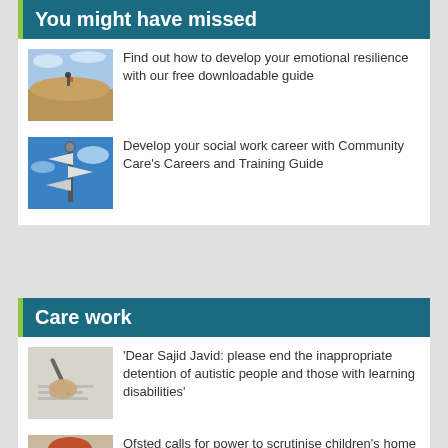You might have missed
Find out how to develop your emotional resilience with our free downloadable guide
Develop your social work career with Community Care's Careers and Training Guide
Care work
'Dear Sajid Javid: please end the inappropriate detention of autistic people and those with learning disabilities'
Ofsted calls for power to scrutinise children's home